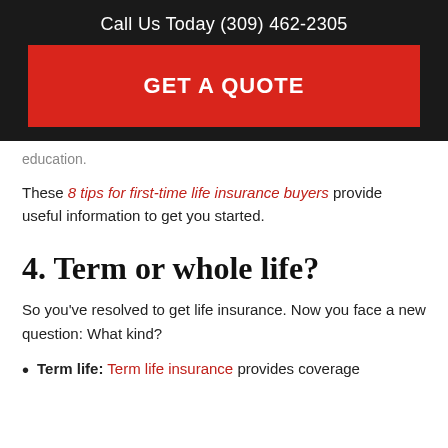Call Us Today (309) 462-2305
GET A QUOTE
education.
These 8 tips for first-time life insurance buyers provide useful information to get you started.
4. Term or whole life?
So you've resolved to get life insurance. Now you face a new question: What kind?
Term life: Term life insurance provides coverage